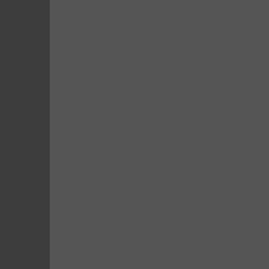[Figure (logo): YouTube logo - partial, showing 'You' text in red on white background]
Check out our NEW
http://www.youtube.c...
[Figure (other): Social sharing icons: email forward icon, and social media share buttons (Gmail, Blogger, Twitter)]
Costume Co...
[Figure (photo): Photo of folding chairs against a metal wire rack with spider web decoration, appears to be a Halloween costume shop or event setup]